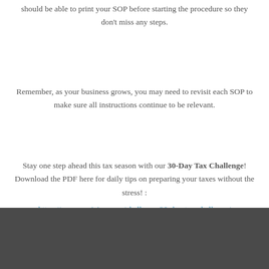should be able to print your SOP before starting the procedure so they don't miss any steps.
Remember, as your business grows, you may need to revisit each SOP to make sure all instructions continue to be relevant.
Stay one step ahead this tax season with our 30-Day Tax Challenge! Download the PDF here for daily tips on preparing your taxes without the stress! : https://xoxorganizing.com/challenge-30-day-tax-challenge/
[Figure (photo): Dark gray/charcoal colored rectangle at the bottom of the page, likely a banner or image placeholder]